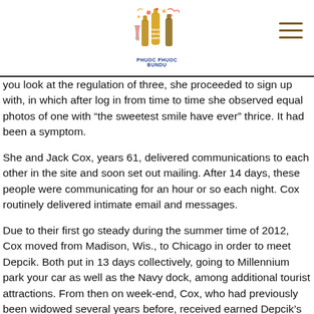PHUOC PHUOC BUNDU (logo)
you look at the regulation of three, she proceeded to sign up with, in which after log in from time to time she observed equal photos of one with “the sweetest smile have ever” thrice. It had been a symptom.
She and Jack Cox, years 61, delivered communications to each other in the site and soon set out mailing. After 14 days, these people were communicating for an hour or so each night. Cox routinely delivered intimate email and messages.
Due to their first go steady during the summer time of 2012, Cox moved from Madison, Wis., to Chicago in order to meet Depcik. Both put in 13 days collectively, going to Millennium park your car as well as the Navy dock, among additional tourist attractions. From then on week-end, Cox, who had previously been widowed several years before, received earned Depcik’s cardio.